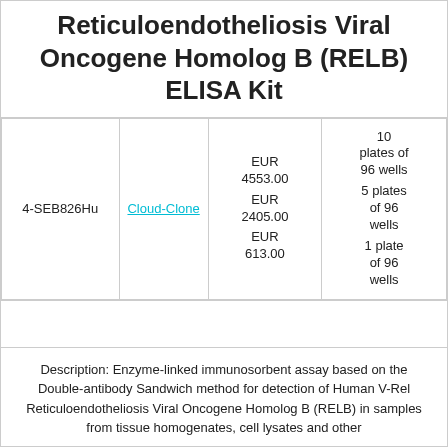Reticuloendotheliosis Viral Oncogene Homolog B (RELB) ELISA Kit
|  |  | Price | Quantity |
| --- | --- | --- | --- |
| 4-SEB826Hu | Cloud-Clone | EUR 4553.00
EUR 2405.00
EUR 613.00 | 10 plates of 96 wells
5 plates of 96 wells
1 plate of 96 wells |
Description: Enzyme-linked immunosorbent assay based on the Double-antibody Sandwich method for detection of Human V-Rel Reticuloendotheliosis Viral Oncogene Homolog B (RELB) in samples from tissue homogenates, cell lysates and other